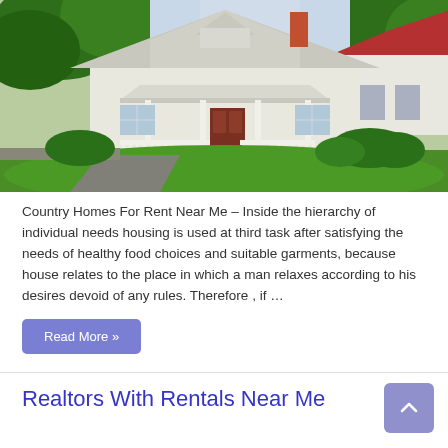[Figure (photo): A white country house with a covered front porch, white picket fence railing, steps, and surrounding green lawn and trees. A neighboring house with a red roof is visible to the right.]
Country Homes For Rent Near Me – Inside the hierarchy of individual needs housing is used at third task after satisfying the needs of healthy food choices and suitable garments, because house relates to the place in which a man relaxes according to his desires devoid of any rules. Therefore , if …
Read More »
Realtors With Rentals Near Me